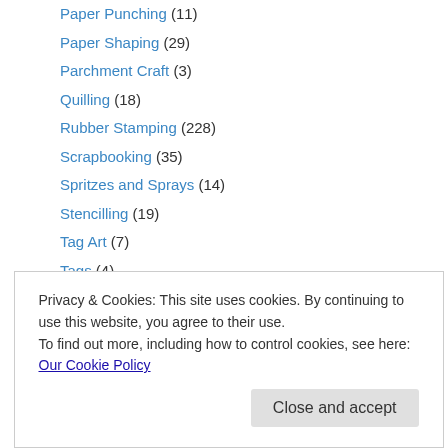Paper Punching (11)
Paper Shaping (29)
Parchment Craft (3)
Quilling (18)
Rubber Stamping (228)
Scrapbooking (35)
Spritzes and Sprays (14)
Stencilling (19)
Tag Art (7)
Tags (4)
Teabag Folding (6)
Photography (2)
Micro Photography (1)
Pottery, Clay and Clay Crafts (2)
SVG Single Stroke Designs (1)
Privacy & Cookies: This site uses cookies. By continuing to use this website, you agree to their use. To find out more, including how to control cookies, see here: Our Cookie Policy
Close and accept